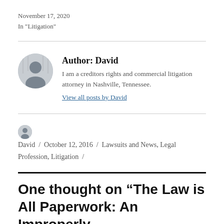November 17, 2020
In "Litigation"
Author: David
I am a creditors rights and commercial litigation attorney in Nashville, Tennessee.
View all posts by David
David / October 12, 2016 / Lawsuits and News, Legal Profession, Litigation /
One thought on “The Law is All Paperwork: An Improperly